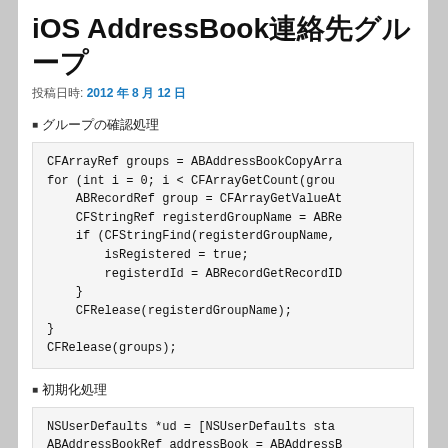iOS AddressBook連絡先グループ
投稿日時: 2012 年 8 月 12 日
■グループの確認処理
CFArrayRef groups = ABAddressBookCopyArra
for (int i = 0; i < CFArrayGetCount(grou
    ABRecordRef group = CFArrayGetValueAt
    CFStringRef registerdGroupName = ABRe
    if (CFStringFind(registerdGroupName,
        isRegistered = true;
        registerdId = ABRecordGetRecordID
    }
    CFRelease(registerdGroupName);
}
CFRelease(groups);
■初期化処理
NSUserDefaults *ud = [NSUserDefaults sta
ABAddressBookRef addressBook = ABAddressB